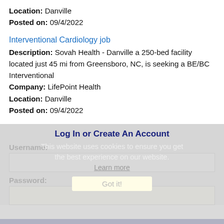Location: Danville
Posted on: 09/4/2022
Interventional Cardiology job
Description: Sovah Health - Danville a 250-bed facility located just 45 mi from Greensboro, NC, is seeking a BE/BC Interventional
Company: LifePoint Health
Location: Danville
Posted on: 09/4/2022
Loading more jobs...
Log In or Create An Account
This website uses cookies to ensure you get the best experience on our website.
Learn more
Username:
Password:
Got it!